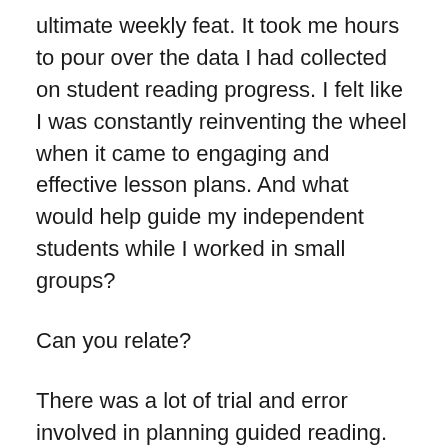ultimate weekly feat. It took me hours to pour over the data I had collected on student reading progress. I felt like I was constantly reinventing the wheel when it came to engaging and effective lesson plans. And what would help guide my independent students while I worked in small groups?
Can you relate?
There was a lot of trial and error involved in planning guided reading. But over the years, I have started to find practices that make planning guided reading easier. I implemented simple practices and routines that transformed